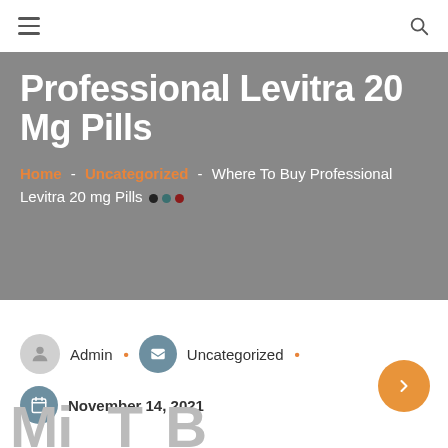☰  🔍
Professional Levitra 20 Mg Pills
Home - Uncategorized - Where To Buy Professional Levitra 20 mg Pills
Admin • Uncategorized •
November 14, 2021